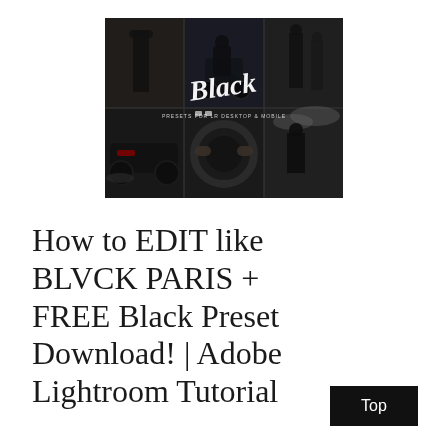[Figure (photo): A photo collage of six dark, moody photos arranged in a 3x2 grid with the word 'Black' written in white script across the center, and text 'PRESETS FOR LR DESKTOP & MOBILE' below. Photos show people in dark clothing, a motorcycle rider, an ATV rider, hands on a steering wheel, and a person on a horse.]
How to EDIT like BLVCK PARIS + FREE Black Preset Download! | Adobe Lightroom Tutorial